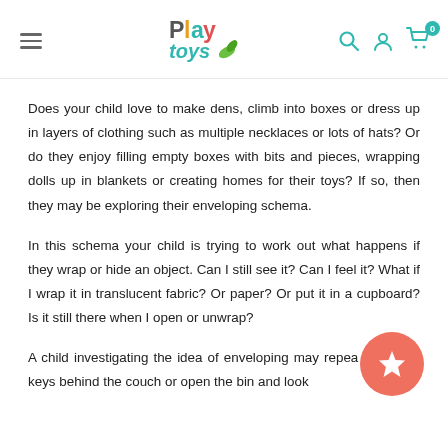Play toys — navigation header with logo, search, account, and cart icons
Does your child love to make dens, climb into boxes or dress up in layers of clothing such as multiple necklaces or lots of hats? Or do they enjoy filling empty boxes with bits and pieces, wrapping dolls up in blankets or creating homes for their toys? If so, then they may be exploring their enveloping schema.
In this schema your child is trying to work out what happens if they wrap or hide an object. Can I still see it? Can I feel it? What if I wrap it in translucent fabric? Or paper? Or put it in a cupboard? Is it still there when I open or unwrap?
A child investigating the idea of enveloping may repea... drop your keys behind the couch or open the bin and look